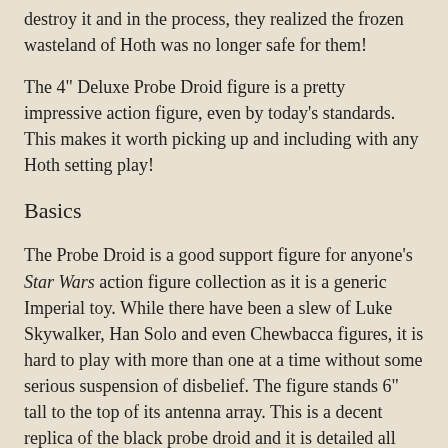destroy it and in the process, they realized the frozen wasteland of Hoth was no longer safe for them!
The 4" Deluxe Probe Droid figure is a pretty impressive action figure, even by today's standards. This makes it worth picking up and including with any Hoth setting play!
Basics
The Probe Droid is a good support figure for anyone's Star Wars action figure collection as it is a generic Imperial toy. While there have been a slew of Luke Skywalker, Han Solo and even Chewbacca figures, it is hard to play with more than one at a time without some serious suspension of disbelief. The figure stands 6" tall to the top of its antenna array. This is a decent replica of the black probe droid and it is detailed all over with lights and even a sticker for one of the control panels. It is cast entirely in hard plastic and the plastic actually has black and gray bits in it to make it look more realistically weathered.
This toy is an awesome sculpt, looking precisely like the